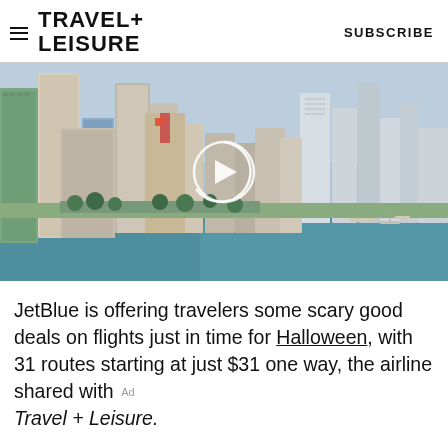TRAVEL+ LEISURE   SUBSCRIBE
[Figure (photo): Aerial view of Miami city skyline with tall skyscrapers along the waterfront, with a video play button overlay in the center]
JetBlue is offering travelers some scary good deals on flights just in time for Halloween, with 31 routes starting at just $31 one way, the airline shared with Travel + Leisure.